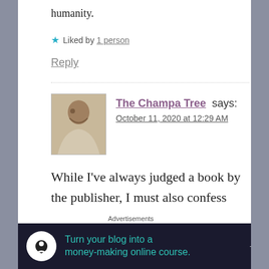humanity.
★ Liked by 1 person
Reply
[Figure (photo): Avatar photo of The Champa Tree commenter — woman in light-colored saree]
The Champa Tree says:
October 11, 2020 at 12:29 AM
While I've always judged a book by the publisher, I must also confess that the cover plays a role too. This one looks fab. And the fact that your not-so-little one has reviewed
Advertisements
[Figure (infographic): Advertisement banner: dark background with circle icon, text 'Turn your blog into a money-making online course.' and arrow]